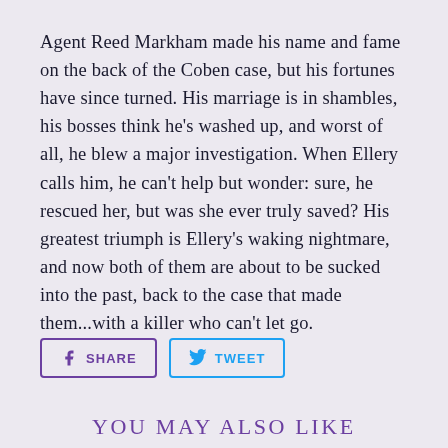Agent Reed Markham made his name and fame on the back of the Coben case, but his fortunes have since turned. His marriage is in shambles, his bosses think he's washed up, and worst of all, he blew a major investigation. When Ellery calls him, he can't help but wonder: sure, he rescued her, but was she ever truly saved? His greatest triumph is Ellery's waking nightmare, and now both of them are about to be sucked into the past, back to the case that made them...with a killer who can't let go.
[Figure (other): Social sharing buttons: Facebook SHARE and Twitter TWEET]
YOU MAY ALSO LIKE